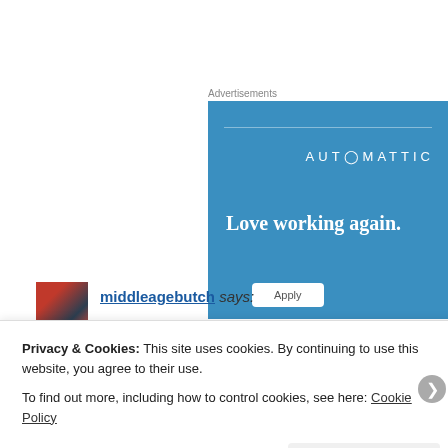Advertisements
[Figure (screenshot): Automattic advertisement banner with blue background showing 'AUTOMATTIC' logo and text 'Love working again.' with an Apply button]
middleagebutch says:
Privacy & Cookies: This site uses cookies. By continuing to use this website, you agree to their use.
To find out more, including how to control cookies, see here: Cookie Policy
Close and accept